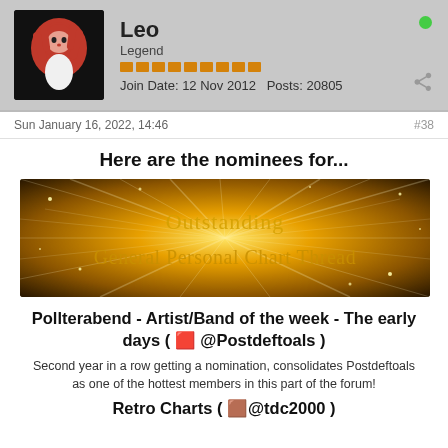Leo | Legend | Join Date: 12 Nov 2012 | Posts: 20805
Sun January 16, 2022, 14:46   #38
Here are the nominees for...
[Figure (illustration): Golden starburst banner with text: Outstanding General Personal Chart Thread]
Pollterabend - Artist/Band of the week - The early days ( @Postdeftoals )
Second year in a row getting a nomination, consolidates Postdeftoals as one of the hottest members in this part of the forum!
Retro Charts ( @tdc2000 )